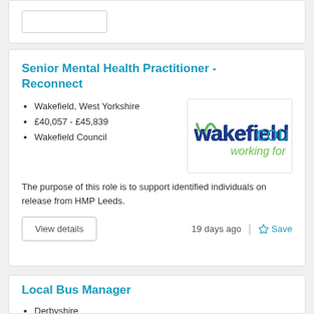Senior Mental Health Practitioner - Reconnect
Wakefield, West Yorkshire
£40,057 - £45,839
Wakefield Council
[Figure (logo): Wakefield Council logo with text 'wakefield council working for you']
The purpose of this role is to support identified individuals on release from HMP Leeds.
View details
19 days ago
Save
Local Bus Manager
Derbyshire